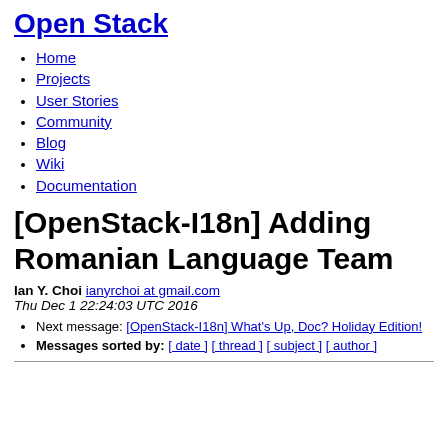Open Stack
Home
Projects
User Stories
Community
Blog
Wiki
Documentation
[OpenStack-I18n] Adding Romanian Language Team
Ian Y. Choi ianyrchoi at gmail.com
Thu Dec 1 22:24:03 UTC 2016
Next message: [OpenStack-I18n] What's Up, Doc? Holiday Edition!
Messages sorted by: [ date ] [ thread ] [ subject ] [ author ]